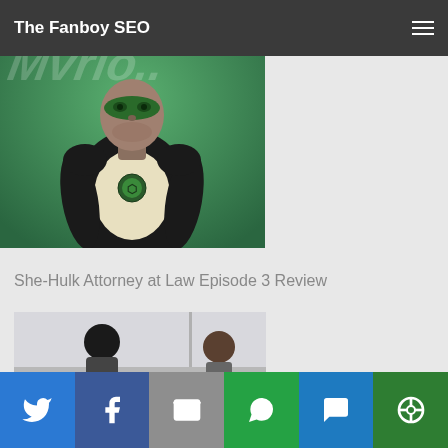The Fanboy SEO
[Figure (photo): Green Lantern superhero figure in dark suit with green mask and chest emblem, against teal/green background with stylized text]
She-Hulk Attorney at Law Episode 3 Review
[Figure (photo): Two female figures in a room, one with dark hair viewed from behind, another seated at a table]
[Figure (infographic): Share bar with social media buttons: Twitter, Facebook, Email, WhatsApp, SMS, More]